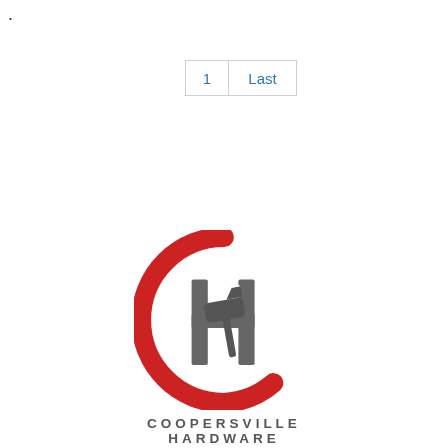.
[Figure (logo): Coopersville Hardware logo: a red partial circle (C shape) with a grey H letter and a grey hammer icon overlaid in the center. Below the logo icon is the text COOPERSVILLE HARDWARE in spaced grey capital letters.]